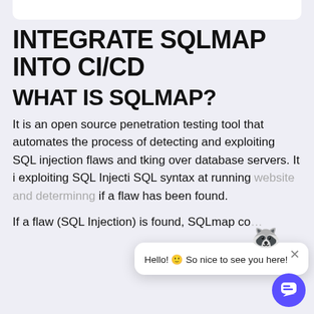INTEGRATE SQLMAP INTO CI/CD
WHAT IS SQLMAP?
It is an open source penetration testing tool that automates the process of detecting and exploiting SQL injection flaws and taking over database servers. It is capable of exploiting SQL Injection flaws by testing different SQL syntax at running websites and determining if a flaw has been found.
If a flaw (SQL Injection) is found, SQLmap co… the exploit that flaw and extract information…
[Figure (screenshot): Chat popup overlay with mascot emoji and greeting 'Hello! So nice to see you here!' with a close button and a purple chat button in the bottom right corner.]